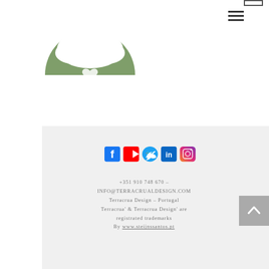[Figure (logo): Terracrua Design logo: a green semicircle with a white tree (oak) silhouette above a heart shape]
[Figure (infographic): Row of five social media icons: Facebook (blue), YouTube (red), Twitter (blue bird), LinkedIn (blue), Instagram (gradient)]
+351 910 748 670 - INFO@TERRACRUALDESIGN.COM Terracrua Design – Portugal Terracrua' & Terracrua Design' are registrated trademarks By www.steijnssantos.pt